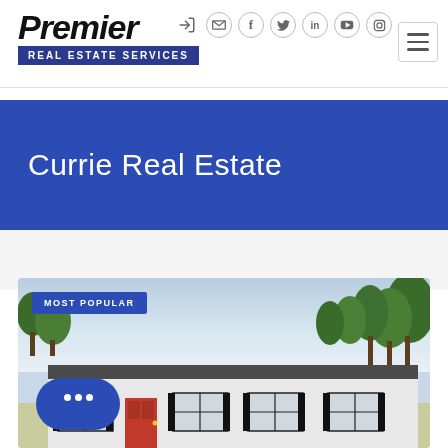[Figure (logo): Premier Real Estate Services logo with italic bold text and blue banner]
Currie Real Estate
[Figure (photo): Exterior photo of a single-story residential home with white siding, trees in background, labelled MOST POPULAR with a chat bubble widget in the lower left corner]